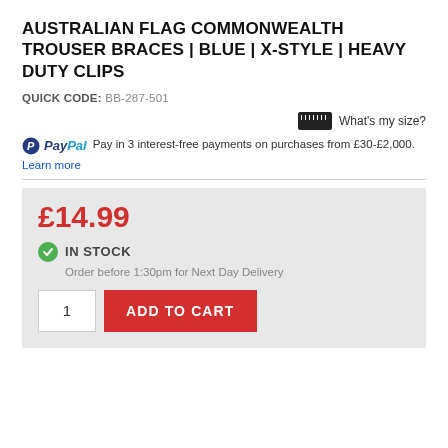AUSTRALIAN FLAG COMMONWEALTH TROUSER BRACES | BLUE | X-STYLE | HEAVY DUTY CLIPS
QUICK CODE: BB-287-501
What's my size?
PayPal Pay in 3 interest-free payments on purchases from £30-£2,000. Learn more
£14.99
IN STOCK
Order before 1:30pm for Next Day Delivery
1
ADD TO CART